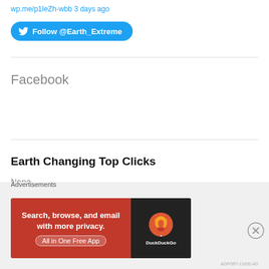wp.me/p1IeZh-wbb 3 days ago
[Figure (other): Twitter Follow button for @Earth_Extreme]
Facebook
Earth Changing Top Clicks
None
Earth Changing Cloud Categories
[Figure (other): DuckDuckGo advertisement banner with text: Search, browse, and email with more privacy. All in One Free App]
Advertisements